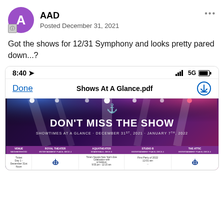AAD
Posted December 31, 2021
Got the shows for 12/31 Symphony and looks pretty pared down...?
[Figure (screenshot): Phone screenshot showing a PDF viewer with 'Shows At A Glance.pdf' open. The PDF shows a Royal Caribbean cruise ship entertainment schedule titled 'DON'T MISS THE SHOW - SHOWTIMES AT A GLANCE - DECEMBER 31ST, 2021 - JANUARY 7TH, 2022' with a table listing venues: VENUE/Neighborhood, ROYAL THEATER Entertainment Place Deck 4, AQUATHEATER Boardwalk Deck 6, STUDIO B Entertainment Place Deck 4, THE ATTIC Entertainment Place Deck 4. Bottom rows show show listings with Royal Caribbean logos.]